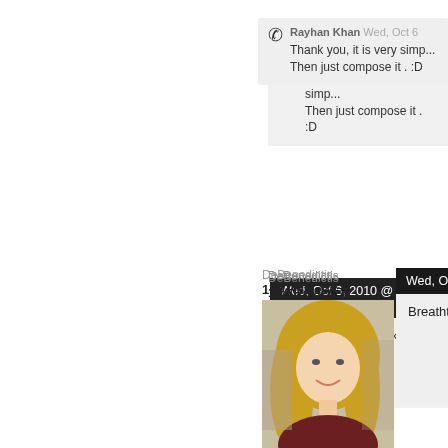Rayhan Khan Wed, Oct 6 — Thank you, it is very simp... Then just compose it . :D
DeBenedictis
174 Reviews
[Figure (photo): Profile photo of DeBenedictis, a woman with long blonde hair, smiling]
Wed, Oct 6, 2010 @ 6:59 PM
Breathtaking...thank you. :)
Rayhan Khan Wed, Oct 6 — Thank you. you have a w...
maineguy
5 Reviews
[Figure (photo): Profile photo of maineguy, an older man with white hair]
Wed, Oct 6, 2010 @ 7:47 PM
really beautiful!